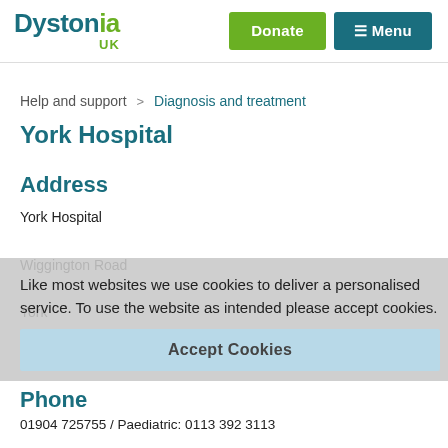Dystonia UK | Donate | Menu
Help and support > Diagnosis and treatment
York Hospital
Address
York Hospital
Wiggington Road
York
YO31 8HE
Like most websites we use cookies to deliver a personalised service. To use the website as intended please accept cookies.
Accept Cookies
Phone
01904 725755 / Paediatric: 0113 392 3113